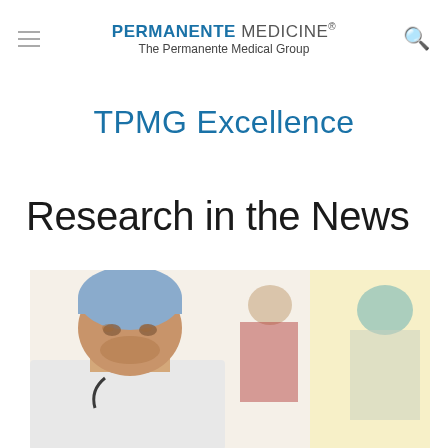PERMANENTE MEDICINE. The Permanente Medical Group
TPMG Excellence
Research in the News
[Figure (photo): A male surgeon in blue scrub cap and white coat looking downward, with two other medical professionals blurred in the background — one in a red top and one in a teal scrub cap.]